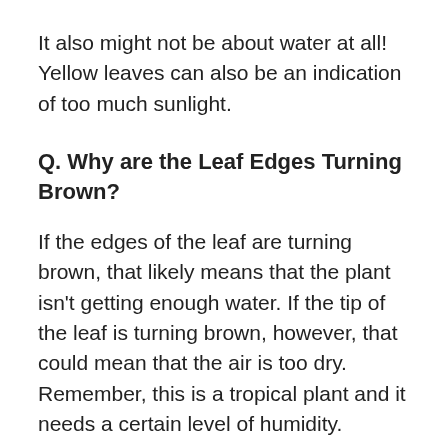It also might not be about water at all! Yellow leaves can also be an indication of too much sunlight.
Q. Why are the Leaf Edges Turning Brown?
If the edges of the leaf are turning brown, that likely means that the plant isn't getting enough water. If the tip of the leaf is turning brown, however, that could mean that the air is too dry. Remember, this is a tropical plant and it needs a certain level of humidity.